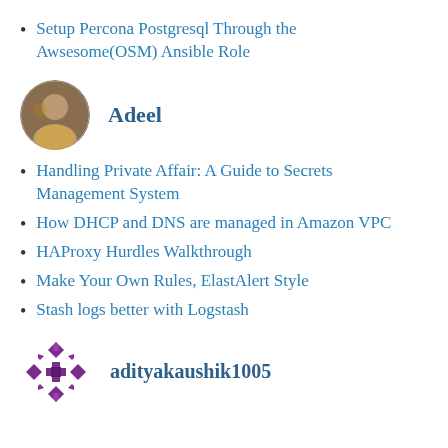Setup Percona Postgresql Through the Awsesome(OSM) Ansible Role
[Figure (photo): Circular avatar photo of Adeel, a person wearing a colorful top]
Adeel
Handling Private Affair: A Guide to Secrets Management System
How DHCP and DNS are managed in Amazon VPC
HAProxy Hurdles Walkthrough
Make Your Own Rules, ElastAlert Style
Stash logs better with Logstash
[Figure (logo): Purple decorative snowflake/geometric avatar for adityakaushik1005]
adityakaushik1005